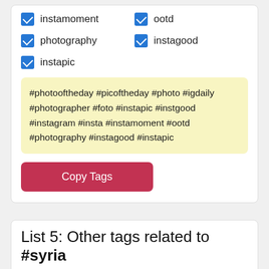instamoment
ootd
photography
instagood
instapic
#photooftheday #picoftheday #photo #igdaily #photographer #foto #instapic #instgood #instagram #insta #instamoment #ootd #photography #instagood #instapic
Copy Tags
List 5: Other tags related to #syria
Select All
Uncheck All